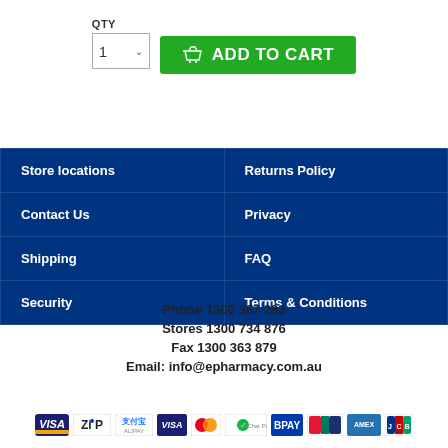[Figure (screenshot): QTY selector showing '1' with dropdown arrow, and green 'ADD TO CART' button with basket icon]
| Store locations | Returns Policy |
| --- | --- |
| Contact Us | Privacy |
| Shipping | FAQ |
| Security | Terms & Conditions |
Phone  1300 367 283
Stores  1300 734 876
Fax 1300 363 879
Email: info@epharmacy.com.au
[Figure (infographic): Row of payment method logos: VISA, ZIP, Alipay, VISA, Mastercard, WeChat Pay, BPAY, UnionPay, American Express, JCB]